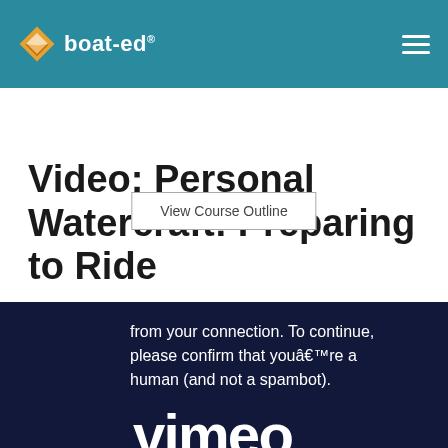boat-ed®
View Course Outline
Video: Personal Watercraft: Preparing to Ride
[Figure (screenshot): Vimeo video player overlay showing a human verification message: 'from your connection. To continue, please confirm that you're a human (and not a spambot).' with the Vimeo logo below on a dark navy background.]